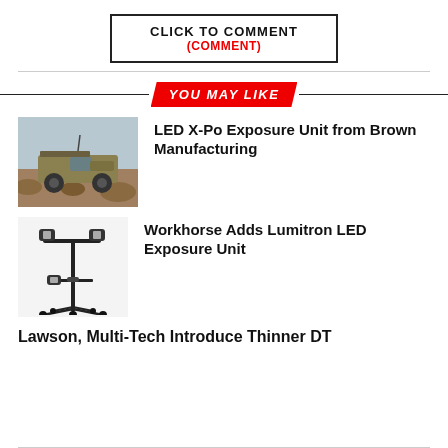CLICK TO COMMENT
(COMMENT)
YOU MAY LIKE
LED X-Po Exposure Unit from Brown Manufacturing
[Figure (photo): Military vehicle / humvee on rocky terrain]
Workhorse Adds Lumitron LED Exposure Unit
[Figure (photo): Exposure unit stand on wheels, black line drawing style]
Lawson, Multi-Tech Introduce Thinner DT